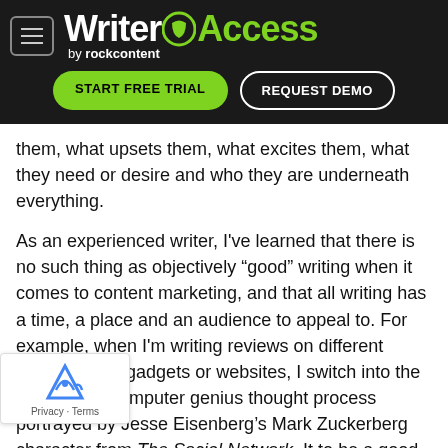[Figure (screenshot): WriterAccess by rockcontent website header with logo, hamburger menu, START FREE TRIAL and REQUEST DEMO buttons on dark background]
them, what upsets them, what excites them, what they need or desire and who they are underneath everything.
As an experienced writer, I've learned that there is no such thing as objectively “good” writing when it comes to content marketing, and that all writing has a time, a place and an audience to appeal to. For example, when I'm writing reviews on different technological gadgets or websites, I switch into the fast-paced, computer genius thought process portrayed by Jesse Eisenberg’s Mark Zuckerberg character from The Social Network. It to be a good way to trick yourself into being ent about your knowledge of the technology industry, which can be intimidating. I often surprise
[Figure (other): reCAPTCHA badge with Privacy and Terms links]